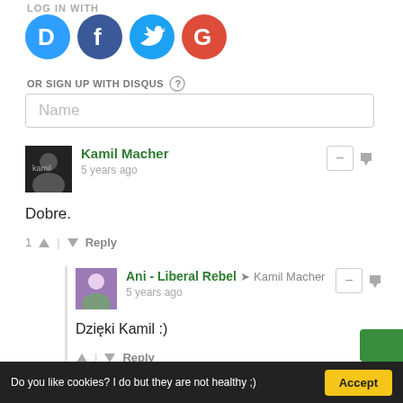LOG IN WITH
[Figure (illustration): Four social login buttons: Disqus (blue circle with D), Facebook (dark blue circle with f), Twitter (light blue circle with bird), Google (red circle with G)]
OR SIGN UP WITH DISQUS ?
Name
Kamil Macher
5 years ago
Dobre.
1 ^ | v Reply
Ani - Liberal Rebel → Kamil Macher
5 years ago
Dzięki Kamil :)
^ | v Reply
Subscribe  Do Not Sell My Data  DISQUS
Do you like cookies? I do but they are not healthy ;)  Accept